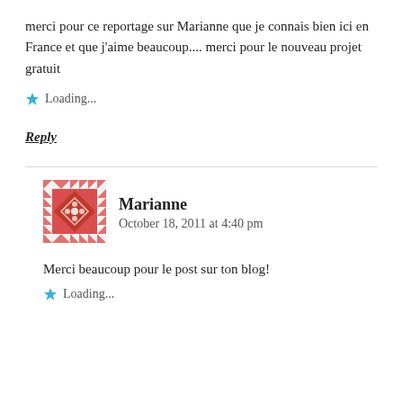merci pour ce reportage sur Marianne que je connais bien ici en France et que j’aime beaucoup.... merci pour le nouveau projet gratuit
Loading...
Reply
Marianne
October 18, 2011 at 4:40 pm
Merci beaucoup pour le post sur ton blog!
Loading...